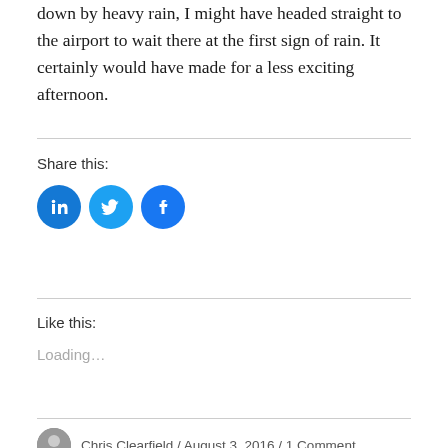down by heavy rain, I might have headed straight to the airport to wait there at the first sign of rain. It certainly would have made for a less exciting afternoon.
Share this:
[Figure (infographic): Three circular social media share buttons: LinkedIn (dark blue with 'in' icon), Twitter (light blue with bird icon), Facebook (blue with f icon)]
Like this:
Loading...
Chris Clearfield / August 3, 2016 / 1 Comment